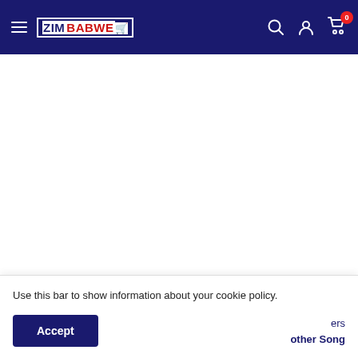[Figure (screenshot): Zimbabwe online shopping website navigation bar with dark navy background, hamburger menu, ZIMBABWE logo with cart icon showing 0 items, search icon, user icon]
Use this bar to show information about your cookie policy.
Accept
ers
other text (partially visible)